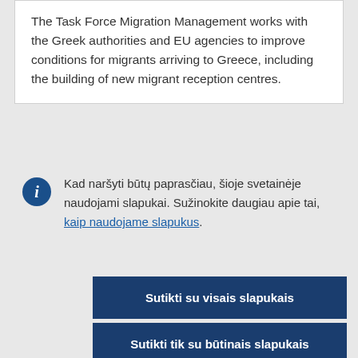The Task Force Migration Management works with the Greek authorities and EU agencies to improve conditions for migrants arriving to Greece, including the building of new migrant reception centres.
Kad naršyti būtų paprasčiau, šioje svetainėje naudojami slapukai. Sužinokite daugiau apie tai, kaip naudojame slapukus.
Sutikti su visais slapukais
Sutikti tik su būtinais slapukais